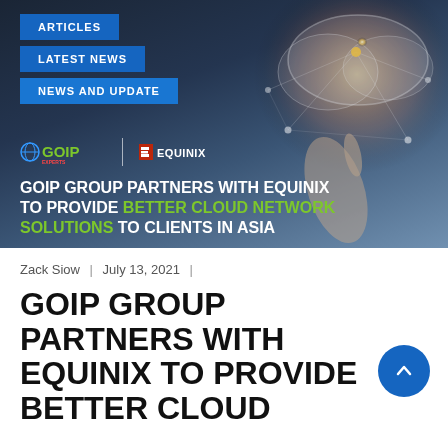[Figure (photo): Hero banner image showing a person touching a glowing cloud network icon, with GOIP and Equinix logos and navigation buttons overlay]
Zack Siow | July 13, 2021 |
GOIP GROUP PARTNERS WITH EQUINIX TO PROVIDE BETTER CLOUD